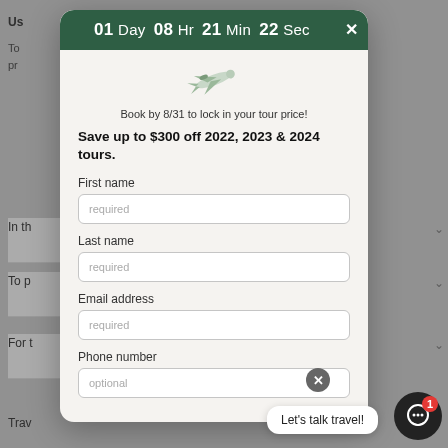[Figure (screenshot): Modal popup on a travel booking website. Dark green header shows countdown timer: 01 Day 08 Hr 21 Min 22 Sec with an X close button. Below is a plane illustration icon, tagline, bold savings offer text, and form fields for First name, Last name, Email address, and Phone number. Background shows partial webpage text. Bottom right has a chat bubble saying 'Let's talk travel!' and a dark circular chat button with a red badge showing '1'.]
Book by 8/31 to lock in your tour price!
Save up to $300 off 2022, 2023 & 2024 tours.
First name
Last name
Email address
Phone number
Let's talk travel!